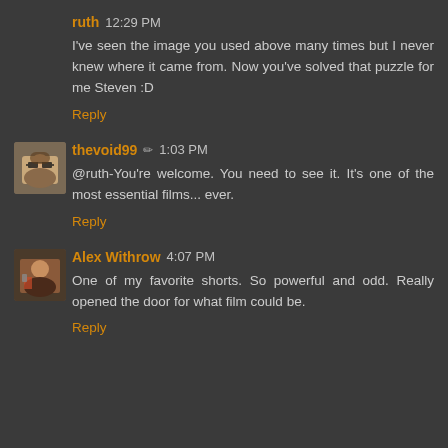ruth 12:29 PM
I've seen the image you used above many times but I never knew where it came from. Now you've solved that puzzle for me Steven :D
Reply
[Figure (photo): Avatar image of thevoid99 user - person with glasses]
thevoid99 ✏ 1:03 PM
@ruth-You're welcome. You need to see it. It's one of the most essential films... ever.
Reply
[Figure (photo): Avatar image of Alex Withrow user]
Alex Withrow 4:07 PM
One of my favorite shorts. So powerful and odd. Really opened the door for what film could be.
Reply